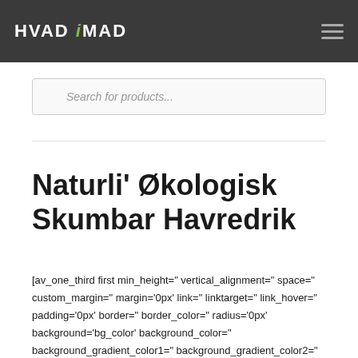HVAD iMAD
[Figure (screenshot): Search bar with placeholder text 'Search for products...']
Naturli' Økologisk Skumbar Havredrik
[av_one_third first min_height=' vertical_alignment=' space=' custom_margin=' margin='0px' link=' linktarget=' link_hover=' padding='0px' border=' border_color=' radius='0px' background='bg_color' background_color=' background_gradient_color1=' background_gradient_color2=' background_gradient_direction='vertical' src='